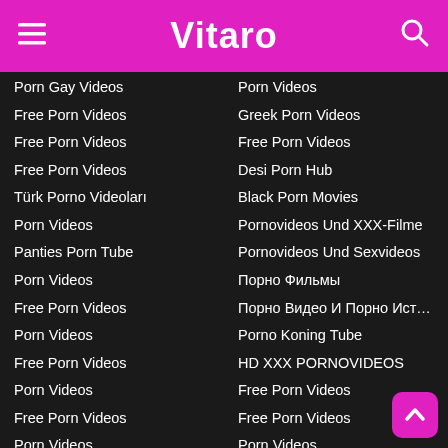Vitaro
Porn Gay Videos
Free Porn Videos
Free Porn Videos
Free Porn Videos
Türk Porno Videoları
Porn Videos
Panties Porn Tube
Porn Videos
Free Porn Videos
Porn Videos
Free Porn Videos
Porn Videos
Free Porn Videos
Porn Videos
Porn Videos
Free Porn Videos
Xxx Porn Videos
Porn Videos
Porn Tube
Porn Videos
Porn Videos
Greek Porn Videos
Free Porn Videos
Desi Porn Hub
Black Porn Movies
Pornovideos Und XXX-Filme
Pornovideos Und Sexvideos
Порно Фильмы
Порно Видео И Порно Истор...
Porno Koning Tube
HD XXX PORNOVIDEOS
Free Porn Videos
Free Porn Videos
Porn Videos
Porn Videos
Porn Videos
Porn Videos
Free Porn Videos
Xxx Porn Movies
Porn Tube